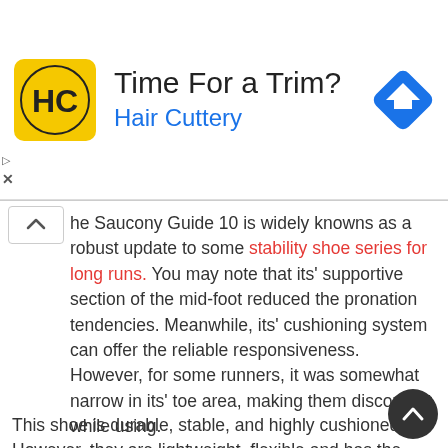[Figure (illustration): Hair Cuttery advertisement banner with yellow logo showing 'HC' text, ad title 'Time For a Trim?', subtitle 'Hair Cuttery' in blue, and a blue navigation arrow icon on the right.]
The Saucony Guide 10 is widely knowns as a robust update to some stability shoe series for long runs. You may note that its' supportive section of the mid-foot reduced the pronation tendencies. Meanwhile, its' cushioning system can offer the reliable responsiveness. However, for some runners, it was somewhat narrow in its' toe area, making them discomfort while using.
This shoe is durable, stable, and highly cushioned. However, they are lightweight, flexible and has the ability to enhance the